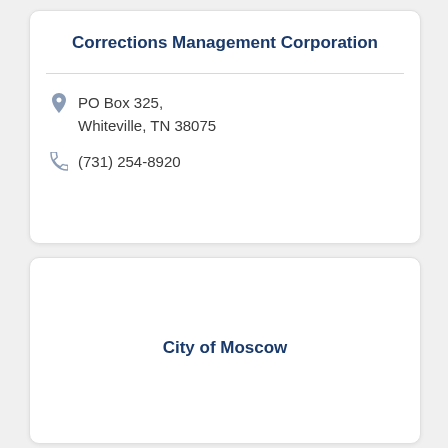Corrections Management Corporation
PO Box 325, Whiteville, TN 38075
(731) 254-8920
City of Moscow